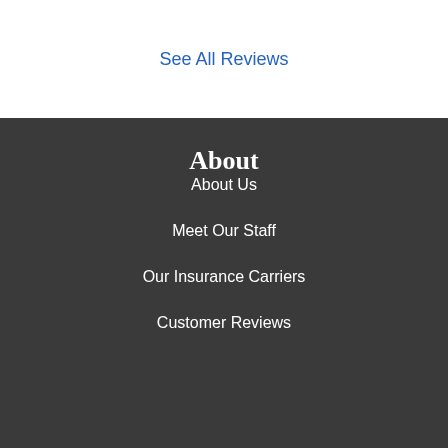See All Reviews
About
About Us
Meet Our Staff
Our Insurance Carriers
Customer Reviews